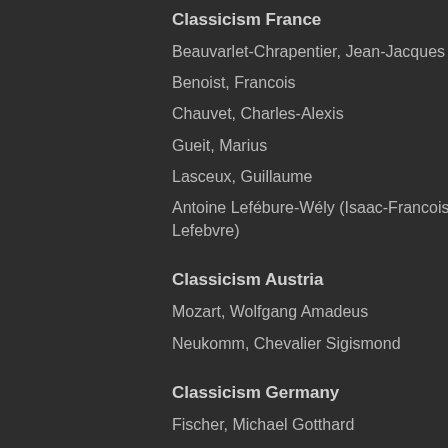Classicism France
Beauvarlet-Chrapentier, Jean-Jacques
Benoist, Francois
Chauvet, Charles-Alexis
Gueit, Marius
Lasceux, Guillaume
Antoine Lefébure-Wély (Isaac-Francois Lefebvre)
Classicism Austria
Mozart, Wolfgang Amadeus
Neukomm, Chevalier Sigismond
Classicism Germany
Fischer, Michael Gotthard
Hesse, Adolph
Hoepner, Christian Gottlob
Kittel, Johann Christian Leberecht
Knecht, Justin Heinrich
Loewe, Carl